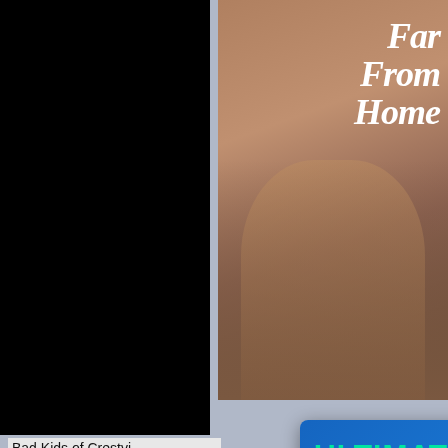[Figure (photo): Black/dark movie poster on left side]
[Figure (photo): Far From Home movie poster, top right, with title text in white italic serif]
Bad Kids of Crestvi...
[Figure (photo): Passion Criminelle / Passio Crimini movie poster, bottom left, SD badge, with subtitle 'Un film de Roza El...']
[Figure (infographic): Blue ad overlay: ULTIMATE OFFER! Protect yourself while surfing online and get Gomovies Premium Membership, for the same time period, for FREE! With laptop illustration and play button.]